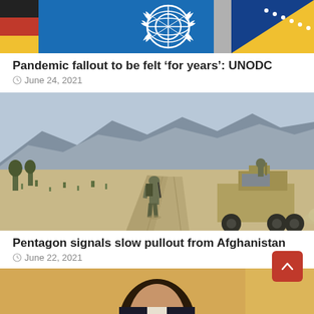[Figure (photo): UN flag (blue with UN emblem) partially visible at top of page, cropped]
Pandemic fallout to be felt ‘for years’: UNODC
○ June 24, 2021
[Figure (photo): A soldier walking on a desert road away from camera toward a military vehicle, with mountains in background — scene from Afghanistan]
Pentagon signals slow pullout from Afghanistan
○ June 22, 2021
[Figure (photo): Partial portrait photo of a person, cropped at bottom of page]